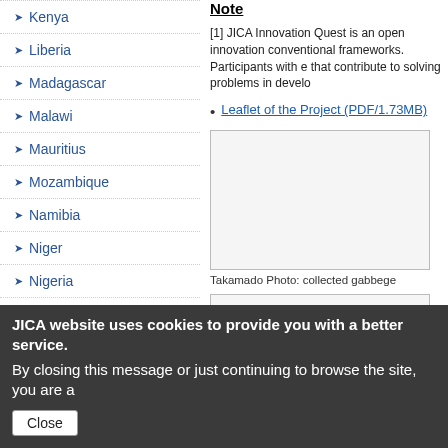Kenya
Liberia
Madagascar
Malawi
Mauritius
Mozambique
Namibia
Niger
Nigeria
Rwanda
Senegal
Seychelles
Note
[1] JICA Innovation Quest is an open innovation conventional frameworks. Participants with e that contribute to solving problems in develo
Leaflet of the Project (PDF/1.73MB)
[Figure (photo): Photo box placeholder]
Takamado Photo: collected gabbege
JICA website uses cookies to provide you with a better service. By closing this message or just continuing to browse the site, you are a